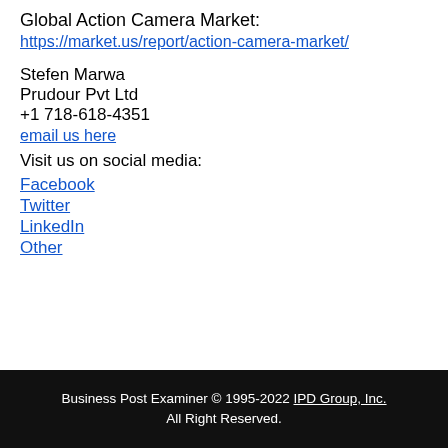Global Action Camera Market: https://market.us/report/action-camera-market/
Stefen Marwa
Prudour Pvt Ltd
+1 718-618-4351
email us here
Visit us on social media:
Facebook
Twitter
LinkedIn
Other
Business Post Examiner © 1995-2022 IPD Group, Inc. All Right Reserved.